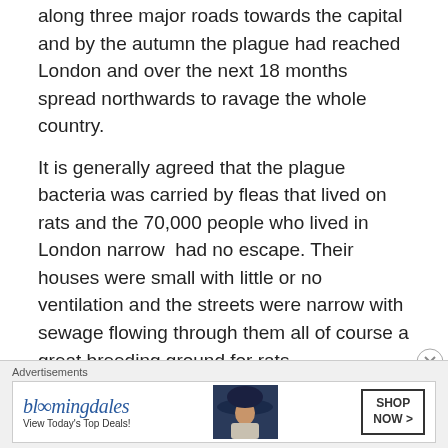along three major roads towards the capital and by the autumn the plague had reached London and over the next 18 months spread northwards to ravage the whole country.
It is generally agreed that the plague bacteria was carried by fleas that lived on rats and the 70,000 people who lived in London narrow  had no escape. Their houses were small with little or no ventilation and the streets were narrow with sewage flowing through them all of course a great breeding ground for rats.
[Figure (map): A historical map showing roads or routes, rendered in beige/tan tones with line connections and nodes, resembling a transport or plague spread map.]
Advertisements
[Figure (other): Bloomingdales advertisement banner: 'bloomingdales - View Today's Top Deals!' with SHOP NOW > button and image of woman in hat.]